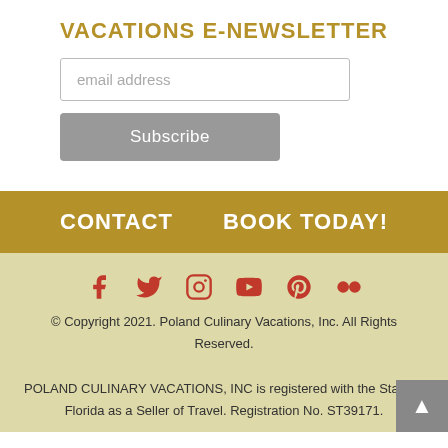VACATIONS E-NEWSLETTER
email address
Subscribe
CONTACT    BOOK TODAY!
[Figure (other): Social media icons: Facebook, Twitter, Instagram, YouTube, Pinterest, Flickr]
© Copyright 2021. Poland Culinary Vacations, Inc. All Rights Reserved.

POLAND CULINARY VACATIONS, INC is registered with the State of Florida as a Seller of Travel. Registration No. ST39171.